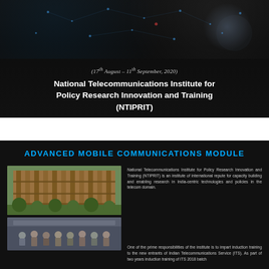[Figure (photo): Dark background with network/technology overlay and hand with glowing points]
(17th August – 11th September, 2020)
National Telecommunications Institute for Policy Research Innovation and Training (NTIPRIT)
ADVANCED MOBILE COMMUNICATIONS MODULE
[Figure (photo): Photo of NTIPRIT building exterior - a multi-storey concrete structure]
National Telecommunications Institute for Policy Research Innovation and Training (NTIPRIT) is an institute of international repute for capacity building and enabling research in India-centric technologies and policies in the telecom domain.
[Figure (photo): Group photo of ITS officers/trainees]
One of the prime responsibilities of the institute is to impart induction training to the new entrants of Indian Telecommunications Service (ITS). As part of two years induction training of ITS 2018 batch